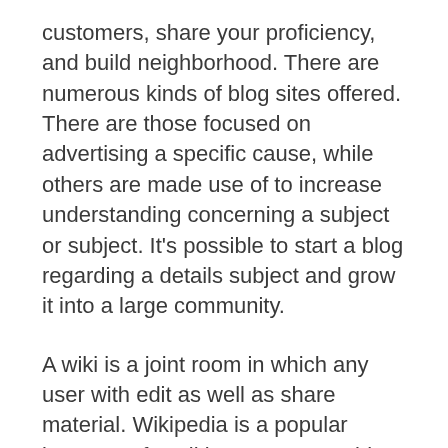customers, share your proficiency, and build neighborhood. There are numerous kinds of blog sites offered. There are those focused on advertising a specific cause, while others are made use of to increase understanding concerning a subject or subject. It's possible to start a blog regarding a details subject and grow it into a large community.
A wiki is a joint room in which any user with edit as well as share material. Wikipedia is a popular instance of a wiki. In contrast, a blog site is not collaborative. It's preserved by a bachelor with administrator approvals, as well as site visitors can just leave comments at the bottom of a post. For a company, a blog can be extremely valuable. Not just can